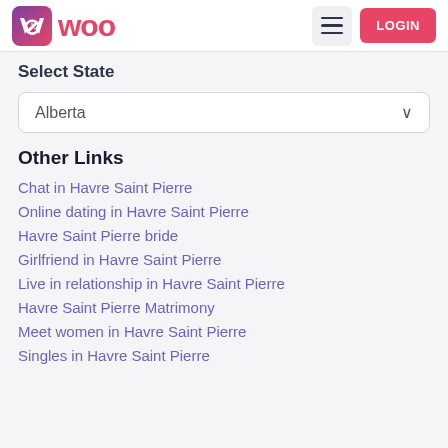Woo — Menu | LOGIN
Select State
Alberta
Other Links
Chat in Havre Saint Pierre
Online dating in Havre Saint Pierre
Havre Saint Pierre bride
Girlfriend in Havre Saint Pierre
Live in relationship in Havre Saint Pierre
Havre Saint Pierre Matrimony
Meet women in Havre Saint Pierre
Singles in Havre Saint Pierre